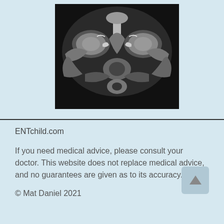[Figure (photo): CT scan cross-section image of sinuses/orbits showing axial view of skull, in black and white grayscale]
ENTchild.com
If you need medical advice, please consult your doctor. This website does not replace medical advice, and no guarantees are given as to its accuracy.
© Mat Daniel 2021